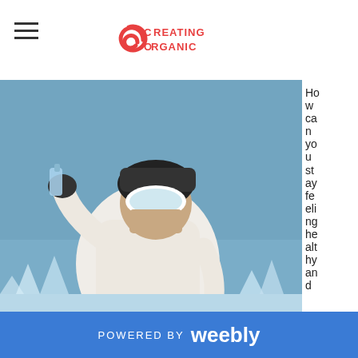Creating Organic
[Figure (photo): Person in white ski jacket, pink snow pants, wearing ski goggles and a black helmet/hat, drinking from a bottle outdoors in a snowy winter scene with blue sky background.]
How can you stay feeling healthy and
POWERED BY weebly